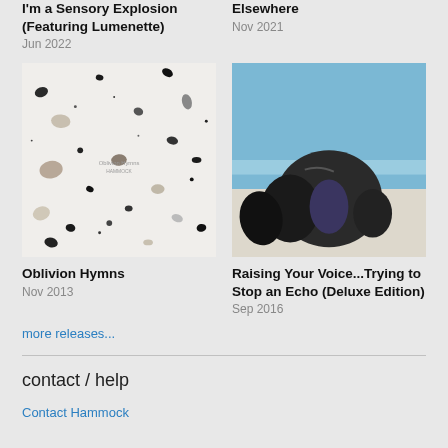I'm a Sensory Explosion (Featuring Lumenette)
Jun 2022
Elsewhere
Nov 2021
[Figure (photo): Album cover for Oblivion Hymns — white terrazzo-style texture with scattered dark and tan stone fragments, faint text in center reading 'Oblivion Hymns / Hammock']
[Figure (photo): Album cover for Raising Your Voice...Trying to Stop an Echo (Deluxe Edition) — dark crumpled jacket or garment lying on white sand under blue sky]
Oblivion Hymns
Nov 2013
Raising Your Voice...Trying to Stop an Echo (Deluxe Edition)
Sep 2016
more releases...
contact / help
Contact Hammock